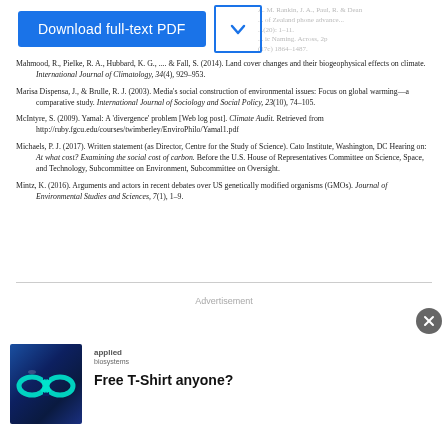Mahmood, R., Pielke, R. A., Hubbard, K. G., ... & Fall, S. (2014). Land cover changes and their biogeophysical effects on climate. International Journal of Climatology, 34(4), 929–953.
Marisa Dispensa, J., & Brulle, R. J. (2003). Media's social construction of environmental issues: Focus on global warming—a comparative study. International Journal of Sociology and Social Policy, 23(10), 74–105.
McIntyre, S. (2009). Yamal: A 'divergence' problem [Web log post]. Climate Audit. Retrieved from http://ruby.fgcu.edu/courses/twimberley/EnviroPhilo/Yamal1.pdf
Michaels, P. J. (2017). Written statement (as Director, Centre for the Study of Science). Cato Institute, Washington, DC Hearing on: At what cost? Examining the social cost of carbon. Before the U.S. House of Representatives Committee on Science, Space, and Technology, Subcommittee on Environment, Subcommittee on Oversight.
Mintz, K. (2016). Arguments and actors in recent debates over US genetically modified organisms (GMOs). Journal of Environmental Studies and Sciences, 7(1), 1–9.
Advertisement
[Figure (illustration): Advertisement banner with Applied Biosystems logo and image showing infinity symbol on blue background. Headline: Free T-Shirt anyone?]